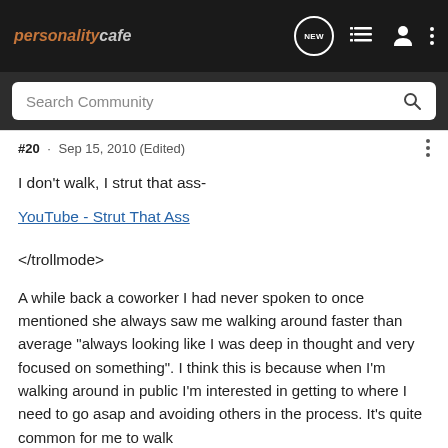personalitycafe
Search Community
#20 · Sep 15, 2010 (Edited)
I don't walk, I strut that ass-
YouTube - Strut That Ass
</trollmode>
A while back a coworker I had never spoken to once mentioned she always saw me walking around faster than average "always looking like I was deep in thought and very focused on something". I think this is because when I'm walking around in public I'm interested in getting to where I need to go asap and avoiding others in the process. It's quite common for me to walk